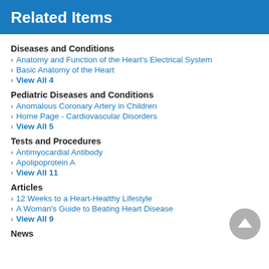Related Items
Diseases and Conditions
Anatomy and Function of the Heart's Electrical System
Basic Anatomy of the Heart
View All 4
Pediatric Diseases and Conditions
Anomalous Coronary Artery in Children
Home Page - Cardiovascular Disorders
View All 5
Tests and Procedures
Antimyocardial Antibody
Apolipoprotein A
View All 11
Articles
12 Weeks to a Heart-Healthy Lifestyle
A Woman's Guide to Beating Heart Disease
View All 9
News